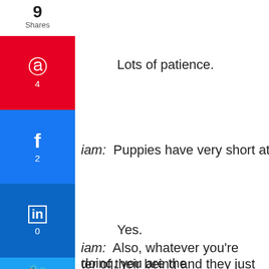9 Shares
Lots of patience.
iam:  Puppies have very short attention spans.
Yes.
iam:  Also, whatever you're doing, you are the center of their being and they just want to come up to